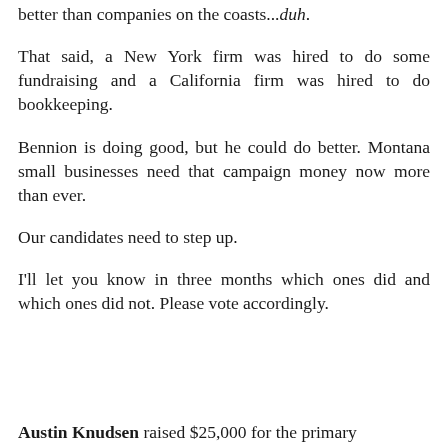better than companies on the coasts...duh.
That said, a New York firm was hired to do some fundraising and a California firm was hired to do bookkeeping.
Bennion is doing good, but he could do better. Montana small businesses need that campaign money now more than ever.
Our candidates need to step up.
I'll let you know in three months which ones did and which ones did not. Please vote accordingly.
Austin Knudsen raised $25,000 for the primary and $2,000 for the general. He spent $16,000...